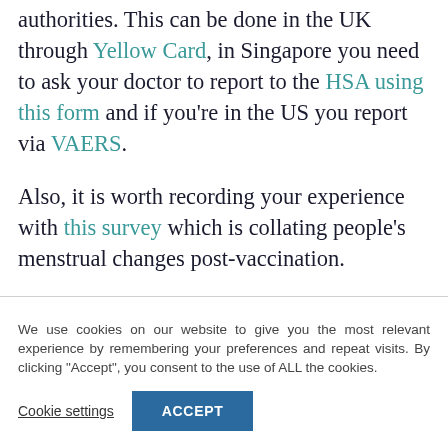authorities. This can be done in the UK through Yellow Card, in Singapore you need to ask your doctor to report to the HSA using this form and if you're in the US you report via VAERS.
Also, it is worth recording your experience with this survey which is collating people's menstrual changes post-vaccination.
We use cookies on our website to give you the most relevant experience by remembering your preferences and repeat visits. By clicking "Accept", you consent to the use of ALL the cookies.
Cookie settings | ACCEPT